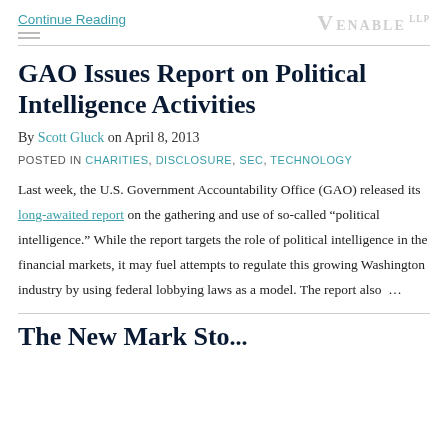Continue Reading
GAO Issues Report on Political Intelligence Activities
By Scott Gluck on April 8, 2013
POSTED IN CHARITIES, DISCLOSURE, SEC, TECHNOLOGY
Last week, the U.S. Government Accountability Office (GAO) released its long-awaited report on the gathering and use of so-called “political intelligence.” While the report targets the role of political intelligence in the financial markets, it may fuel attempts to regulate this growing Washington industry by using federal lobbying laws as a model. The report also …
The New Mark Sto...